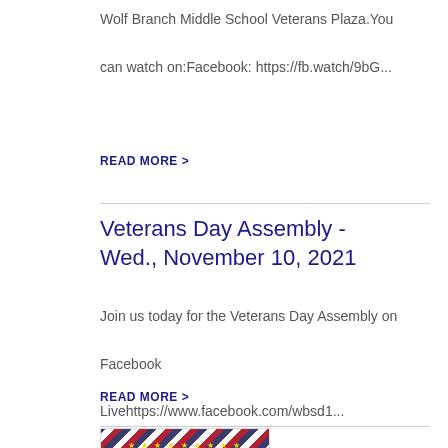Wolf Branch Middle School Veterans Plaza.You can watch on:Facebook: https://fb.watch/9bG...
READ MORE >
Veterans Day Assembly - Wed., November 10, 2021
Join us today for the Veterans Day Assembly on Facebook Livehttps://www.facebook.com/wbsd1...
READ MORE >
[Figure (photo): Thumbnail image of Wolf Branch Veterans Day Assembly flyer with patriotic red, white and blue design with stars]